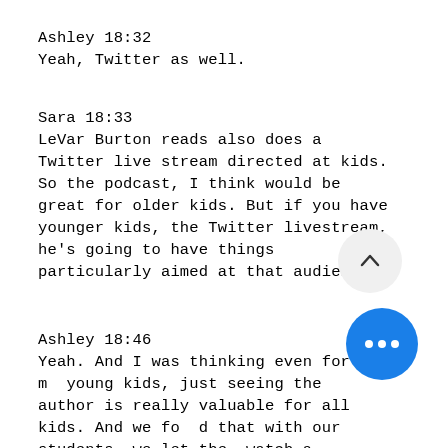Ashley  18:32
Yeah, Twitter as well.
Sara  18:33
LeVar Burton reads also does a Twitter live stream directed at kids. So the podcast, I think would be great for older kids. But if you have younger kids, the Twitter livestream, he's going to have things particularly aimed at that audience.
Ashley  18:46
Yeah. And I was thinking even for my young kids, just seeing the author is really valuable for all kids. And we found that with our students, we let them watch a part. We had read one at Jason